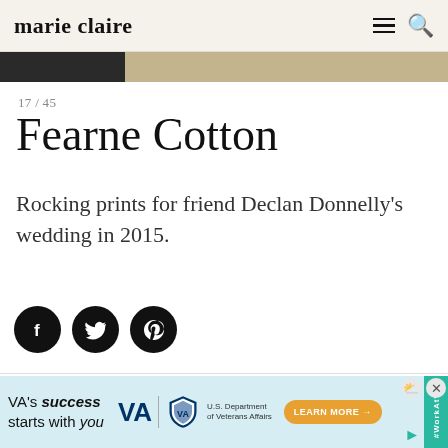marie claire
[Figure (photo): Partial hero image strip showing a cropped photo, dark on left, sandy texture on right]
17 / 45
Fearne Cotton
Rocking prints for friend Declan Donnelly's wedding in 2015.
[Figure (infographic): Social sharing icon buttons: Facebook, Twitter, Pinterest — black circles with white icons]
[Figure (infographic): Advertisement banner: VA's success starts with you — U.S. Department of Veterans Affairs, Learn More button, teal sidebar with #WorkAtVA]